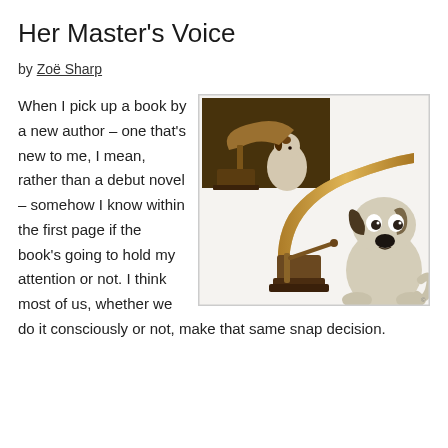Her Master’s Voice
by Zoë Sharp
[Figure (photo): Two images: a classic sepia-toned 'His Master's Voice' photo of a white dog listening to a gramophone, positioned top-left within the frame; and a larger image of Gromit (Wallace and Gromit clay character) sitting beside a vintage brass gramophone horn, on a white background.]
When I pick up a book by a new author – one that’s new to me, I mean, rather than a debut novel – somehow I know within the first page if the book’s going to hold my attention or not. I think most of us, whether we do it consciously or not, make that same snap decision.